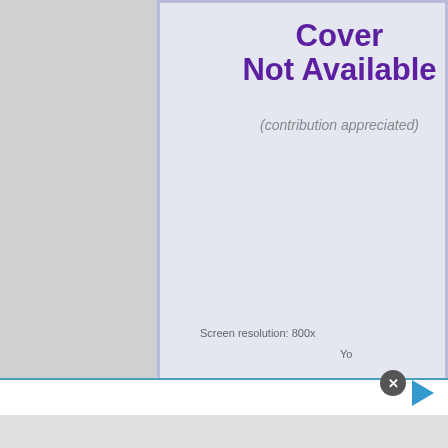[Figure (screenshot): Partial screenshot of a webpage showing two side-by-side panels. Left panel reads 'Cover Not Available (contribution appreciated)' in purple bold text. Right panel (partially cut off) reads 'Entry Lis... Not Availab... (contribution appre...' also in purple bold text. Both panels have a light lavender/grey background with a border. Below the panels is a lavender footer strip. Further below are grey informational text lines starting with 'Screen resolution: 800x...' and 'Yo...'. At the very bottom is a white ad area with a blue top border, a grey strip, a close button (dark circle with X), and a teal play button triangle.]